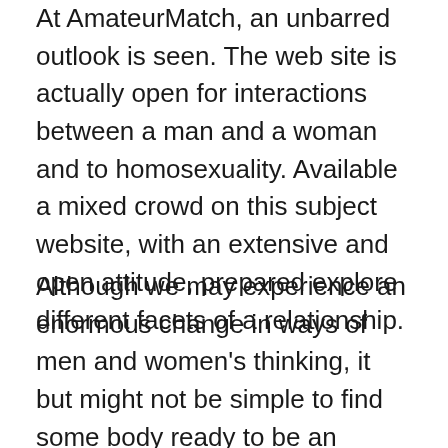At AmateurMatch, an unbarred outlook is seen. The web site is actually open for interactions between a man and a woman and to homosexuality. Available a mixed crowd on this subject website, with an extensive and open attitude, prepared explore different facets of a relationship.
Although we may experience an enormous change in ways of men and women's thinking, it but might not be simple to find some body ready to be an activity lover without any whole charade of getting understand someone and going on dates. AmateurMatch allows you to quickly connect to like-minded men and women